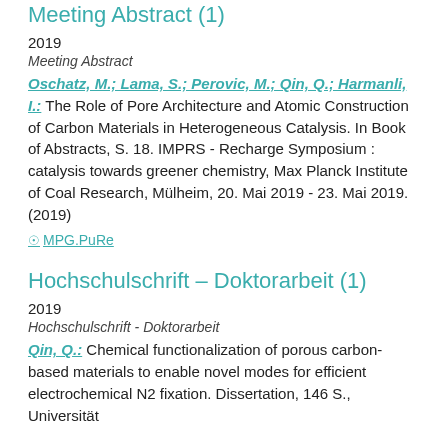Meeting Abstract (1)
2019
Meeting Abstract
Oschatz, M.; Lama, S.; Perovic, M.; Qin, Q.; Harmanli, I.: The Role of Pore Architecture and Atomic Construction of Carbon Materials in Heterogeneous Catalysis. In Book of Abstracts, S. 18. IMPRS - Recharge Symposium : catalysis towards greener chemistry, Max Planck Institute of Coal Research, Mülheim, 20. Mai 2019 - 23. Mai 2019. (2019)
MPG.PuRe
Hochschulschrift – Doktorarbeit (1)
2019
Hochschulschrift - Doktorarbeit
Qin, Q.: Chemical functionalization of porous carbon-based materials to enable novel modes for efficient electrochemical N2 fixation. Dissertation, 146 S., Universität